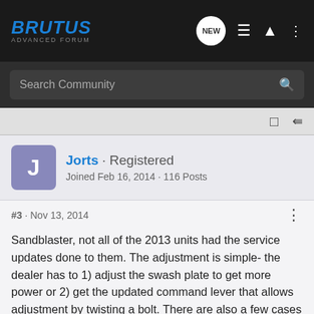[Figure (screenshot): Brutus Forum logo - website navigation bar with logo, NEW button, list icon, user icon, and more options icon]
[Figure (screenshot): Search Community search bar on dark background]
[Figure (screenshot): Toolbar with bookmark and share icons]
Jorts · Registered
Joined Feb 16, 2014 · 116 Posts
#3 · Nov 13, 2014
Sandblaster, not all of the 2013 units had the service updates done to them. The adjustment is simple- the dealer has to 1) adjust the swash plate to get more power or 2) get the updated command lever that allows adjustment by twisting a bolt. There are also a few cases where the throttle linkage was loose.
I'd put m non-adjusted
[Figure (screenshot): G-Force advertisement banner: 3X RELIABILITY, 3X PERFORMANCE, 3X G-FORCE with ATV image]